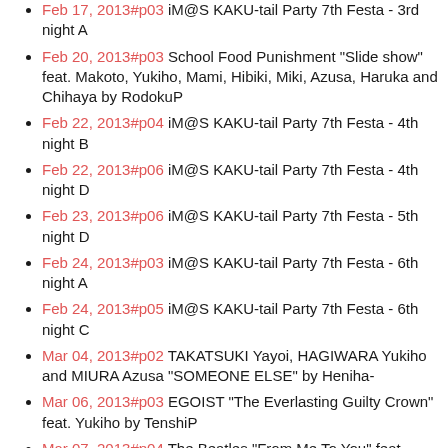Feb 17, 2013#p03 iM@S KAKU-tail Party 7th Festa - 3rd night A
Feb 20, 2013#p03 School Food Punishment "Slide show" feat. Makoto, Yukiho, Mami, Hibiki, Miki, Azusa, Haruka and Chihaya by RodokuP
Feb 22, 2013#p04 iM@S KAKU-tail Party 7th Festa - 4th night B
Feb 22, 2013#p06 iM@S KAKU-tail Party 7th Festa - 4th night D
Feb 23, 2013#p06 iM@S KAKU-tail Party 7th Festa - 5th night D
Feb 24, 2013#p03 iM@S KAKU-tail Party 7th Festa - 6th night A
Feb 24, 2013#p05 iM@S KAKU-tail Party 7th Festa - 6th night C
Mar 04, 2013#p02 TAKATSUKI Yayoi, HAGIWARA Yukiho and MIURA Azusa "SOMEONE ELSE" by Heniha-
Mar 06, 2013#p03 EGOIST "The Everlasting Guilty Crown" feat. Yukiho by TenshiP
Mar 07, 2013#p04 The Beatles "From Me To You" feat. Haruka, Yukiho and Yayoi by SeptumP
Mar 15, 2013#p02 Perfume "Twinkle Snow Powdery Snow" feat. Yayoi, Yukiho and Mami by BubbiliciusP